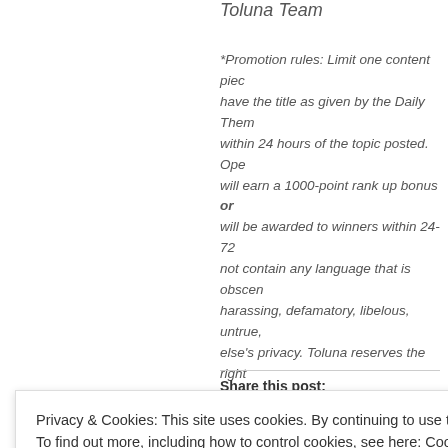Toluna Team
*Promotion rules: Limit one content piece... have the title as given by the Daily Them... within 24 hours of the topic posted. Ope... will earn a 1000-point rank up bonus or will be awarded to winners within 24-72 not contain any language that is obscene harassing, defamatory, libelous, untrue, else's privacy. Toluna reserves the right withhold bonus points from any user vio...
Share this post:
Privacy & Cookies: This site uses cookies. By continuing to use this website, you agree to their use.
To find out more, including how to control cookies, see here: Cookie Policy
Close and accept
Advertisements